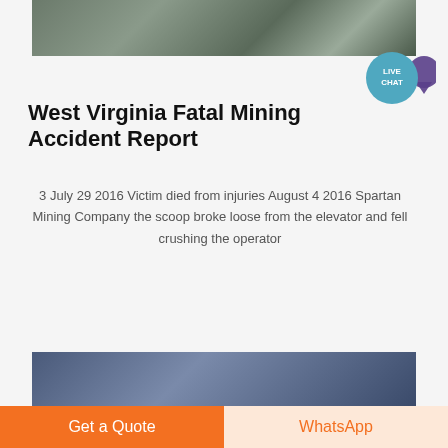[Figure (photo): Top photograph of a mining facility exterior with brick walls and metal structures]
West Virginia Fatal Mining Accident Report
3 July 29 2016 Victim died from injuries August 4 2016 Spartan Mining Company the scoop broke loose from the elevator and fell crushing the operator
[Figure (photo): Bottom photograph of a mining facility interior with ceiling structures]
Get a Quote
WhatsApp